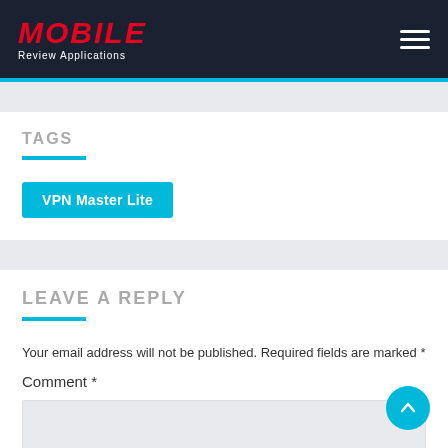MOBILE Review Applications
TAGS
VPN Master Lite
LEAVE A REPLY
Your email address will not be published. Required fields are marked *
Comment *